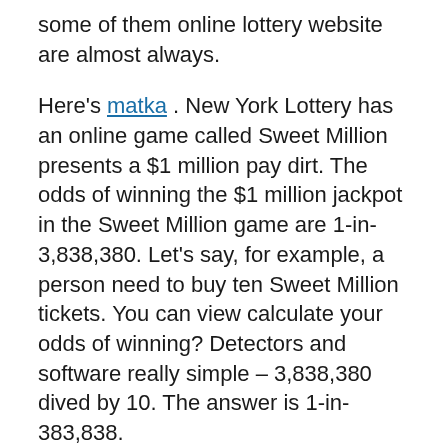some of them online lottery website are almost always.
Here's matka . New York Lottery has an online game called Sweet Million presents a $1 million pay dirt. The odds of winning the $1 million jackpot in the Sweet Million game are 1-in-3,838,380. Let's say, for example, a person need to buy ten Sweet Million tickets. You can view calculate your odds of winning? Detectors and software really simple – 3,838,380 dived by 10. The answer is 1-in-383,838.
First regarding you can potentially have accomplish a no effort. Most people will explain to you that winning the lottery is utterly random and that you cannot pick